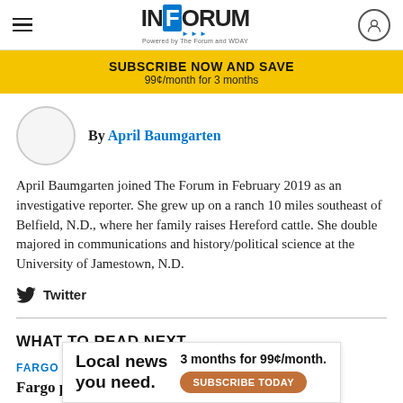INFORUM — Powered by The Forum and WDAY
SUBSCRIBE NOW AND SAVE
99¢/month for 3 months
By April Baumgarten
April Baumgarten joined The Forum in February 2019 as an investigative reporter. She grew up on a ranch 10 miles southeast of Belfield, N.D., where her family raises Hereford cattle. She double majored in communications and history/political science at the University of Jamestown, N.D.
Twitter
WHAT TO READ NEXT
FARGO
Fargo perm
[Figure (screenshot): Advertisement banner: Local news you need. 3 months for 99¢/month. SUBSCRIBE TODAY button.]